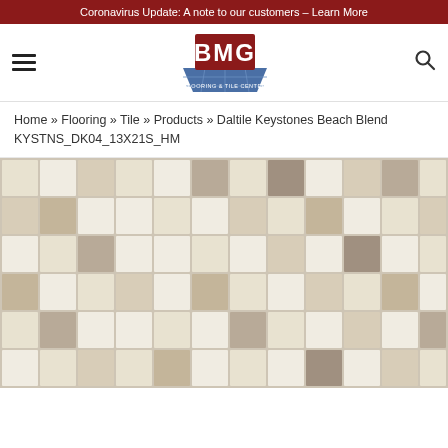Coronavirus Update: A note to our customers – Learn More
[Figure (logo): BMG Flooring & Tile Center logo with red box and blue tile base]
Home » Flooring » Tile » Products » Daltile Keystones Beach Blend KYSTNS_DK04_13X21S_HM
[Figure (photo): Close-up photo of Daltile Keystones Beach Blend mosaic tile showing small square tiles in varying shades of beige, cream, and taupe arranged in a random pattern]